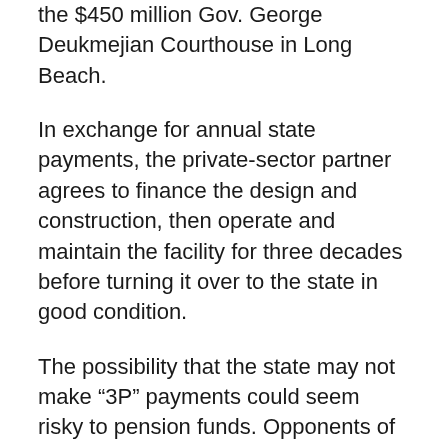the $450 million Gov. George Deukmejian Courthouse in Long Beach.
In exchange for annual state payments, the private-sector partner agrees to finance the design and construction, then operate and maintain the facility for three decades before turning it over to the state in good condition.
The possibility that the state may not make “3P” payments could seem risky to pension funds. Opponents of “3P” projects also point to two troubled toll roads, one new 10-mile stretch near the Mexican border and a 10-mile freeway median route in Orange County.
With thin traffic, SR 125 went bankrupt and was purchased by the San Diego Association of Governments. When a “non-compete” clause barred freeway improvements, the SR 91 route was sold to the Orange County